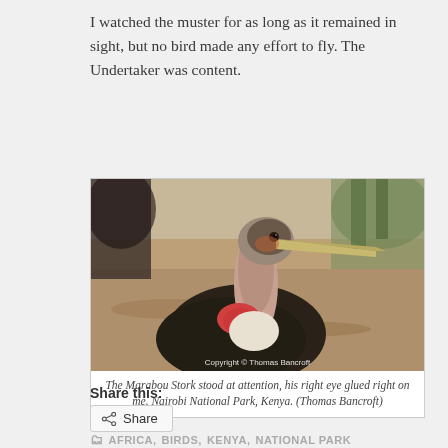I watched the muster for as long as it remained in sight, but no bird made any effort to fly. The Undertaker was content.
[Figure (photo): Close-up photograph of a Marabou Stork with a large beak, pink neck gular sac, black wings, and white chest feathers, standing at attention against a blurred brown water background. Copyright by Thomas Bancroft.]
The Marabou Stork stood at attention, his right eye glued right on me. Nairobi National Park, Kenya. (Thomas Bancroft)
Share this:
Share
AFRICA, BIRDS, KENYA, NATIONAL PARK